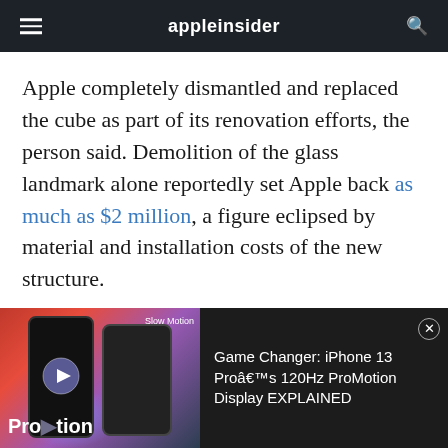appleinsider
Apple completely dismantled and replaced the cube as part of its renovation efforts, the person said. Demolition of the glass landmark alone reportedly set Apple back as much as $2 million, a figure eclipsed by material and installation costs of the new structure.
In addition to the glass cube entryway, Apple's premier New York outlet more than doubled
[Figure (screenshot): Video ad banner showing iPhone 13 Pro ProMotion display with thumbnail image on left and title text on right. Title: Game Changer: iPhone 13 Proâs 120Hz ProMotion Display EXPLAINED]